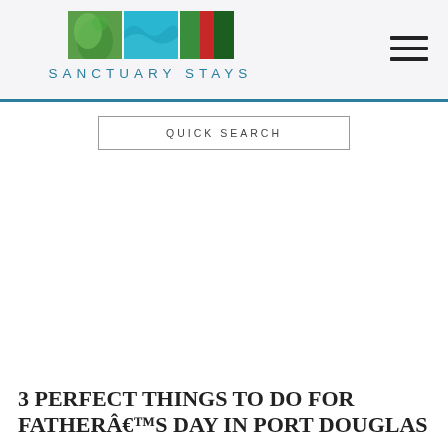SANCTUARY STAYS
[Figure (logo): Sanctuary Stays logo with three nature images (green leaf, blue water, red/green plant) and text SANCTUARY STAYS in teal letters]
QUICK SEARCH
3 PERFECT THINGS TO DO FOR FATHERÂ€™S DAY IN PORT DOUGLAS